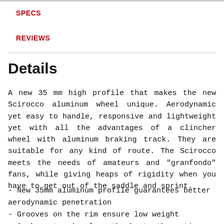SPECS
REVIEWS
Details
A new 35 mm high profile that makes the new Scirocco aluminum wheel unique. Aerodynamic yet easy to handle, responsive and lightweight yet with all the advantages of a clincher wheel with aluminum braking track. They are suitable for any kind of route. The Scirocco meets the needs of amateurs and "granfondo" fans, while giving heaps of rigidity when you have to get out of the saddle and sprint.
- New 35mm aluminum profile guarantees better aerodynamic penetration
- Grooves on the rim ensure low weight
- Spokes stay in place thanks to the anti-spoke